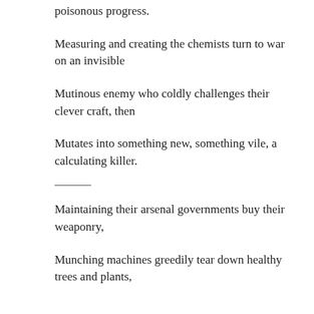poisonous progress.
Measuring and creating the chemists turn to war on an invisible
Mutinous enemy who coldly challenges their clever craft, then
Mutates into something new, something vile, a calculating killer.
Maintaining their arsenal governments buy their weaponry,
Munching machines greedily tear down healthy trees and plants,